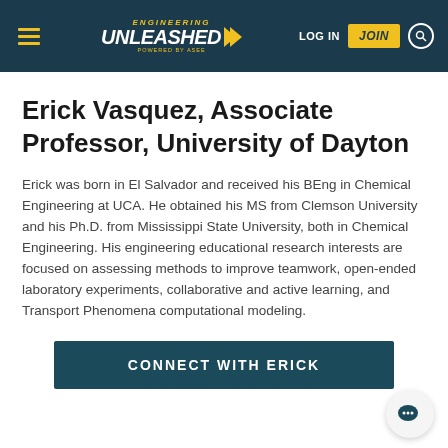Engineering Unleashed — LOG IN | JOIN
Erick Vasquez, Associate Professor, University of Dayton
Erick was born in El Salvador and received his BEng in Chemical Engineering at UCA. He obtained his MS from Clemson University and his Ph.D. from Mississippi State University, both in Chemical Engineering. His engineering educational research interests are focused on assessing methods to improve teamwork, open-ended laboratory experiments, collaborative and active learning, and Transport Phenomena computational modeling.
CONNECT WITH ERICK